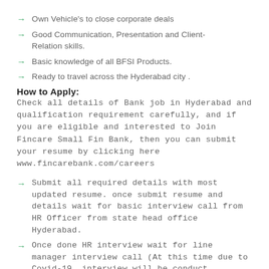Own Vehicle's to close corporate deals
Good Communication, Presentation and Client-Relation skills.
Basic knowledge of all BFSI Products.
Ready to travel across the Hyderabad city .
How to Apply:
Check all details of Bank job in Hyderabad and qualification requirement carefully, and if you are eligible and interested to Join Fincare Small Fin Bank, then you can submit your resume by clicking here www.fincarebank.com/careers
Submit all required details with most updated resume. once submit resume and details wait for basic interview call from HR Officer from state head office Hyderabad.
Once done HR interview wait for line manager interview call (At this time due to Covid-19, interview will be conduct telephonic only)